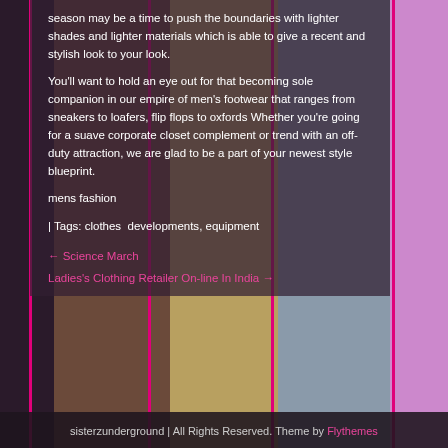[Figure (photo): Fashion photography collage showing multiple women in various outfits arranged in vertical columns with pink border dividers]
season may be a time to push the boundaries with lighter shades and lighter materials which is able to give a recent and stylish look to your look.
You'll want to hold an eye out for that becoming sole companion in our empire of men's footwear that ranges from sneakers to loafers, flip flops to oxfords Whether you're going for a suave corporate closet complement or trend with an off-duty attraction, we are glad to be a part of your newest style blueprint.
mens fashion
| Tags: clothes  developments, equipment
← Science March
Ladies's Clothing Retailer On-line In India →
sisterzunderground | All Rights Reserved. Theme by Flythemes